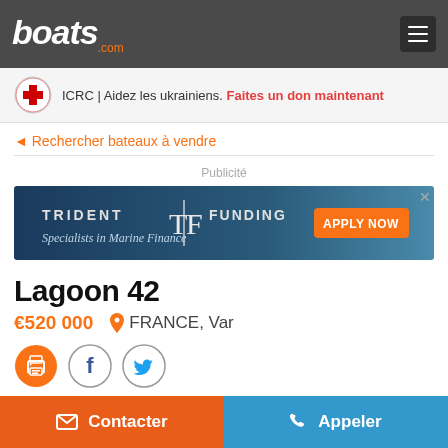boats.com
[Figure (infographic): ICRC Red Cross logo with text: ICRC | Aidez les ukrainiens. Faites un don maintenant]
Rechercher bateaux à vendre
Publicité
[Figure (infographic): Trident Funding - Specialists in Marine Finance - APPLY NOW advertisement banner]
Lagoon 42
€520 000   FRANCE, Var
[Figure (infographic): Social sharing icons: print, Facebook, Twitter]
Contacter
Appeler